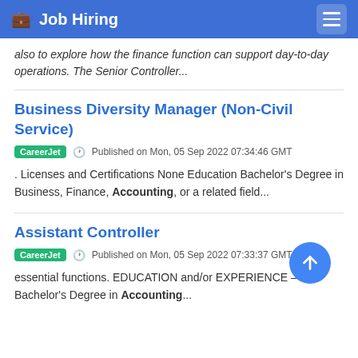Job Hiring
also to explore how the finance function can support day-to-day operations. The Senior Controller...
Business Diversity Manager (Non-Civil Service)
CareerJet  Published on Mon, 05 Sep 2022 07:34:46 GMT
. Licenses and Certifications None Education Bachelor's Degree in Business, Finance, Accounting, or a related field...
Assistant Controller
CareerJet  Published on Mon, 05 Sep 2022 07:33:37 GMT
essential functions. EDUCATION and/or EXPERIENCE – Bachelor's Degree in Accounting...